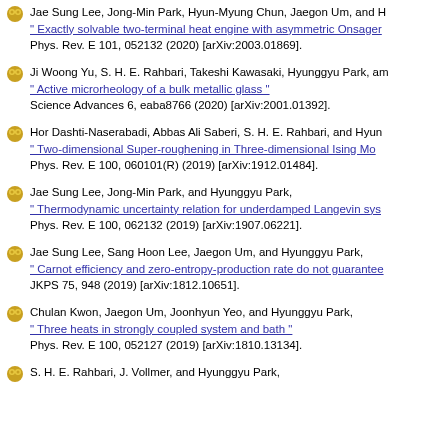Jae Sung Lee, Jong-Min Park, Hyun-Myung Chun, Jaegon Um, and H... " Exactly solvable two-terminal heat engine with asymmetric Onsager... Phys. Rev. E 101, 052132 (2020) [arXiv:2003.01869].
Ji Woong Yu, S. H. E. Rahbari, Takeshi Kawasaki, Hyunggyu Park, am... " Active microrheology of a bulk metallic glass " Science Advances 6, eaba8766 (2020) [arXiv:2001.01392].
Hor Dashti-Naserabadi, Abbas Ali Saberi, S. H. E. Rahbari, and Hyun... " Two-dimensional Super-roughening in Three-dimensional Ising Mo... Phys. Rev. E 100, 060101(R) (2019) [arXiv:1912.01484].
Jae Sung Lee, Jong-Min Park, and Hyunggyu Park, " Thermodynamic uncertainty relation for underdamped Langevin sys... Phys. Rev. E 100, 062132 (2019) [arXiv:1907.06221].
Jae Sung Lee, Sang Hoon Lee, Jaegon Um, and Hyunggyu Park, " Carnot efficiency and zero-entropy-production rate do not guarantee... JKPS 75, 948 (2019) [arXiv:1812.10651].
Chulan Kwon, Jaegon Um, Joonhyun Yeo, and Hyunggyu Park, " Three heats in strongly coupled system and bath " Phys. Rev. E 100, 052127 (2019) [arXiv:1810.13134].
S. H. E. Rahbari, J. Vollmer, and Hyunggyu Park,